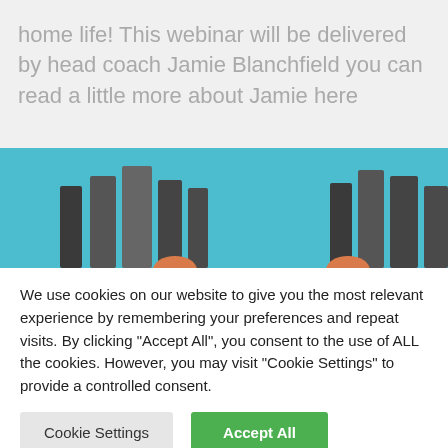home life! This webinar will be delivered by head coach Jamie Blanchfield you can read a little more about Jamie here
[Figure (illustration): Illustrated banner with a light blue background showing stylized dark figures (people or books) standing, partially cropped at bottom]
We use cookies on our website to give you the most relevant experience by remembering your preferences and repeat visits. By clicking "Accept All", you consent to the use of ALL the cookies. However, you may visit "Cookie Settings" to provide a controlled consent.
Cookie Settings
Accept All